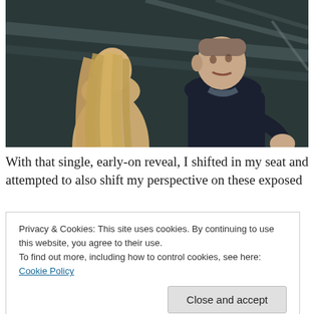[Figure (photo): Movie still showing a blonde woman facing away from camera (back visible) and a man in a dark sweater facing her in a dark industrial-looking setting]
With that single, early-on reveal, I shifted in my seat and attempted to also shift my perspective on these exposed
Privacy & Cookies: This site uses cookies. By continuing to use this website, you agree to their use.
To find out more, including how to control cookies, see here: Cookie Policy
Close and accept